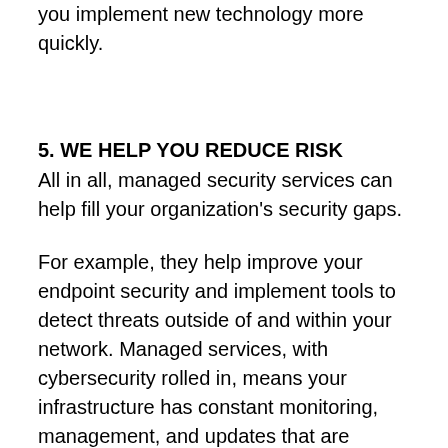you implement new technology more quickly.
5. WE HELP YOU REDUCE RISK
All in all, managed security services can help fill your organization's security gaps.
For example, they help improve your endpoint security and implement tools to detect threats outside of and within your network. Managed services, with cybersecurity rolled in, means your infrastructure has constant monitoring, management, and updates that are critical to